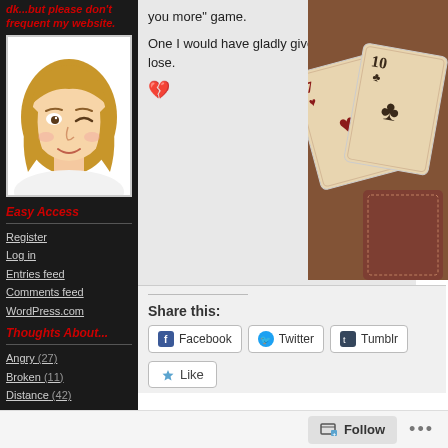dk...but please don't frequent my website.
[Figure (illustration): Cartoon avatar of a blond woman winking, with bangs, drawn in a simple comic style]
Easy Access
Register
Log in
Entries feed
Comments feed
WordPress.com
Thoughts About...
Angry (27)
Broken (11)
Distance (42)
Dreams (4)
Far Away (65)
you more" game.
One I would have gladly given anything to lose.
💔
[Figure (photo): Close-up photo of vintage playing cards (7 of hearts, 10 of clubs) with a warm sepia/brown tone]
Share this:
Facebook  Twitter  Tumblr
Like
Follow  ...